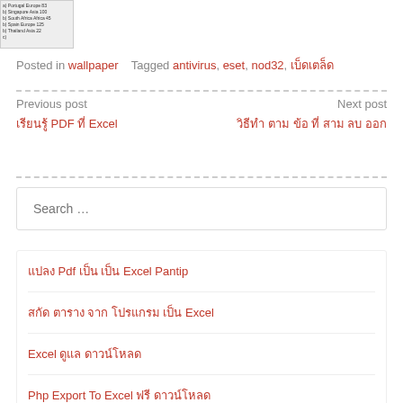[Figure (other): Small thumbnail image of a table with rows of data]
Posted in wallpaper   Tagged antivirus, eset, nod32, เบ็ดเตล็ด
Previous post
เรียนรู้ Pdf และ Excel Pantip
Next post
วิธีทำ ตาม ข้อ ที่ สาม ลบ ออก
Search …
แปลง Pdf เป็น เป็น Excel Pantip
สกัด ตาราง จาก โปรแกรม เป็น Excel
Excel ดูแล ดาวน์โหลด
Php Export To Excel ฟรี ดาวน์โหลด